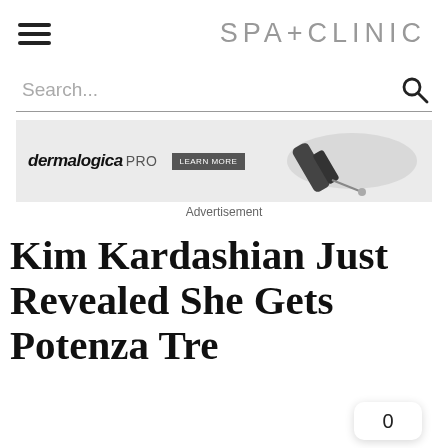SPA+CLINIC
[Figure (screenshot): Search bar with placeholder text 'Search...' and search icon on the right]
[Figure (screenshot): Dermalogica PRO advertisement banner with product tube and 'LEARN MORE' button]
Advertisement
Kim Kardashian Just Revealed She Gets Potenza Tre...